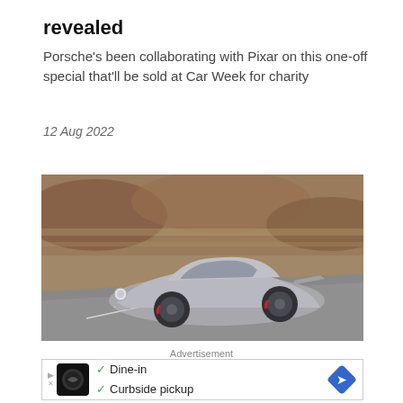revealed
Porsche's been collaborating with Pixar on this one-off special that'll be sold at Car Week for charity
12 Aug 2022
[Figure (photo): Silver Porsche 911 (993 generation) driving on a road with blurred motion background, photographed from front-three-quarter angle]
Advertisement
[Figure (other): Advertisement banner showing a restaurant logo with checkmarks for Dine-in and Curbside pickup, with a navigation diamond icon on the right]